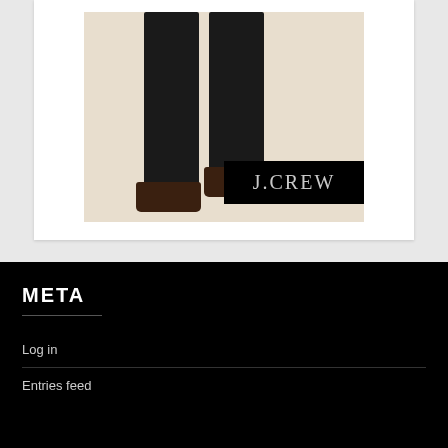[Figure (photo): J.Crew advertisement photo showing lower half of a person wearing dark dress pants and dark brown shoes, with a black J.CREW logo badge in the bottom right corner of the image. Background is cream/beige.]
META
Log in
Entries feed